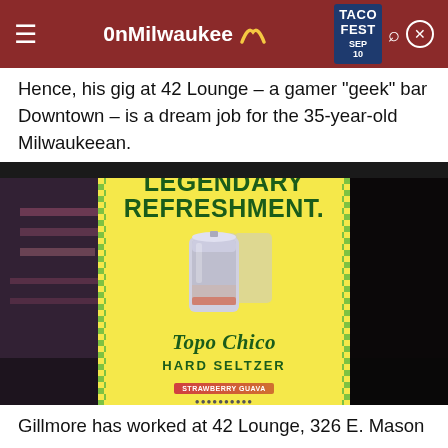OnMilwaukee | TACO FEST SEP 10
Hence, his gig at 42 Lounge – a gamer "geek" bar Downtown – is a dream job for the 35-year-old Milwaukeean.
[Figure (photo): Dark interior photo of a bar/lounge with customers, overlaid with a Topo Chico Hard Seltzer advertisement. Ad shows CRISP TASTE. LEGENDARY REFRESHMENT. with Topo Chico Hard Seltzer Strawberry Guava can on yellow background with green checkerboard border.]
Gillmore has worked at 42 Lounge, 326 E. Mason